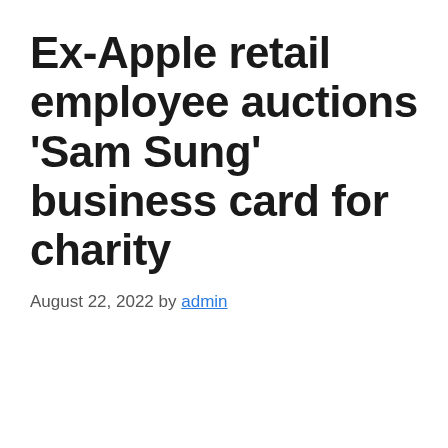Ex-Apple retail employee auctions 'Sam Sung' business card for charity
August 22, 2022 by admin